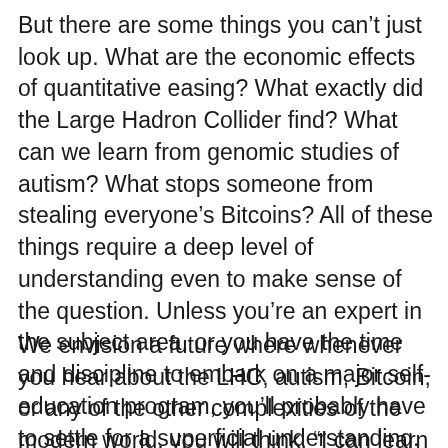But there are some things you can't just look up. What are the economic effects of quantitative easing? What exactly did the Large Hadron Collider find? What can we learn from genomic studies of autism? What stops someone from stealing everyone's Bitcoins? All of these things require a deep level of understanding even to make sense of the question. Unless you're an expert in the subject area, or you have the time and discipline to embark on a major self-education program, you'll probably have to settle for a superficial understanding.
We envision a future where whenever you hear about the LHC, autism, Bitcoin, or any of the other complexities of the modern world, you will think, “I can learn that!” We think a world where deep